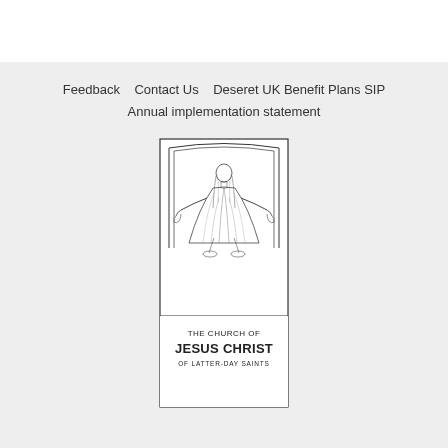Feedback   Contact Us   Deseret UK Benefit Plans SIP
Annual implementation statement
[Figure (logo): The Church of Jesus Christ of Latter-day Saints logo — line-art figure of Christ with arms outstretched, arched frame, with text THE CHURCH OF JESUS CHRIST OF LATTER-DAY SAINTS below]